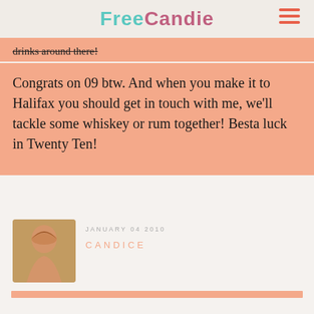FreeCandie
drinks around there!
Congrats on 09 btw. And when you make it to Halifax you should get in touch with me, we'll tackle some whiskey or rum together! Besta luck in Twenty Ten!
JANUARY 04 2010
CANDICE